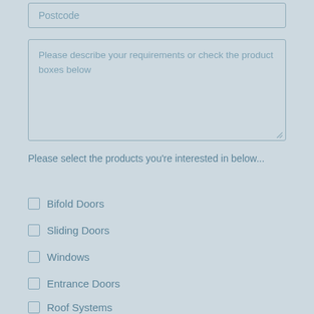Postcode
Please describe your requirements or check the product boxes below
Please select the products you're interested in below...
Bifold Doors
Sliding Doors
Windows
Entrance Doors
Roof Systems